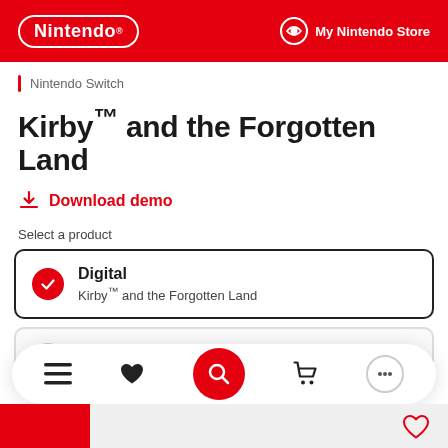Nintendo | My Nintendo Store
Nintendo Switch
Kirby™ and the Forgotten Land
Download demo
Select a product
Digital — Kirby™ and the Forgotten Land
Physical